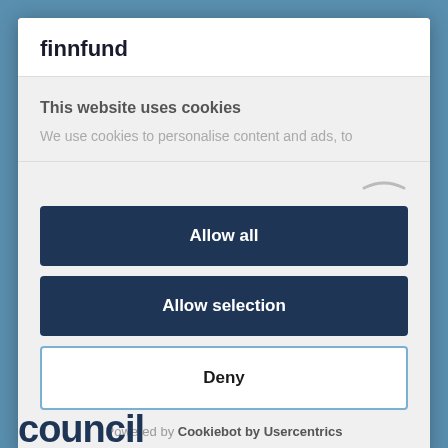finnfund
This website uses cookies
We use cookies to personalise content and ads, to
[Figure (other): Scroll indicator arc graphic]
Allow all
Allow selection
Deny
Powered by Cookiebot by Usercentrics